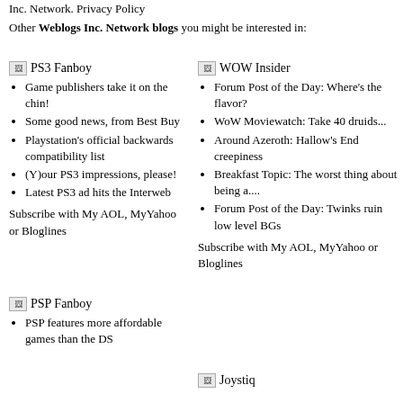Inc. Network. Privacy Policy
Other Weblogs Inc. Network blogs you might be interested in:
[Figure (logo): PS3 Fanboy logo image]
Game publishers take it on the chin!
Some good news, from Best Buy
Playstation's official backwards compatibility list
(Y)our PS3 impressions, please!
Latest PS3 ad hits the Interweb
Subscribe with My AOL, MyYahoo or Bloglines
[Figure (logo): WOW Insider logo image]
Forum Post of the Day: Where's the flavor?
WoW Moviewatch: Take 40 druids...
Around Azeroth: Hallow's End creepiness
Breakfast Topic: The worst thing about being a....
Forum Post of the Day: Twinks ruin low level BGs
Subscribe with My AOL, MyYahoo or Bloglines
[Figure (logo): PSP Fanboy logo image]
PSP features more affordable games than the DS
[Figure (logo): Joystiq logo image]